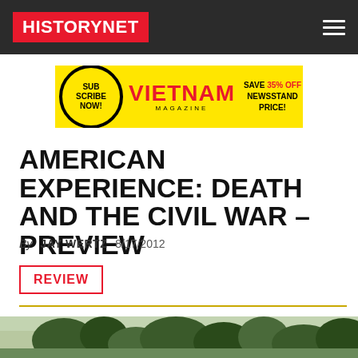HISTORYNET
[Figure (other): Vietnam Magazine subscription advertisement banner: Subscribe Now! Vietnam Magazine - Save 35% Off Newsstand Price!]
AMERICAN EXPERIENCE: DEATH AND THE CIVIL WAR – PREVIEW
By JAY WERTZ  8/17/2012
REVIEW
[Figure (photo): Partial view of an outdoor Civil War scene with trees visible at bottom of page]